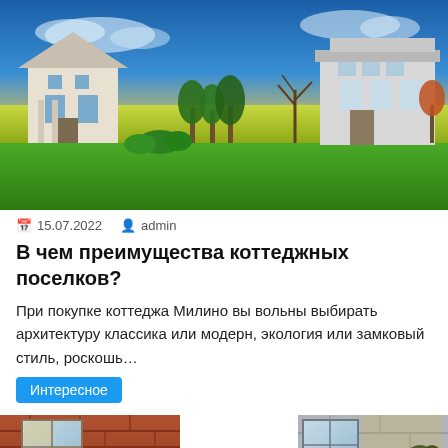[Figure (photo): Exterior view of cottage village houses with green lawn and dramatic sunset sky with golden fields in the background]
📅 15.07.2022  👤 admin
В чем преимущества коттеджных поселков?
При покупке коттеджа Милино вы вольны выбирать архитектуру классика или модерн, экология или замковый стиль, роскошь…
Интересное
[Figure (photo): Plants on windowsill with brick wall exterior and windows in the background]